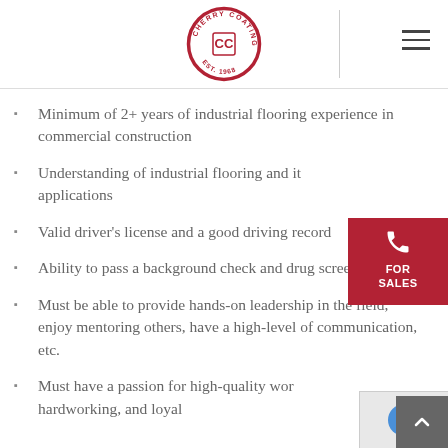Cherry Coatings — Est. 1968 logo and navigation menu
Minimum of 2+ years of industrial flooring experience in commercial construction
Understanding of industrial flooring and its applications
Valid driver's license and a good driving record
Ability to pass a background check and drug screen tests
Must be able to provide hands-on leadership in the field, enjoy mentoring others, have a high-level of communication, etc.
Must have a passion for high-quality work, hardworking, and loyal